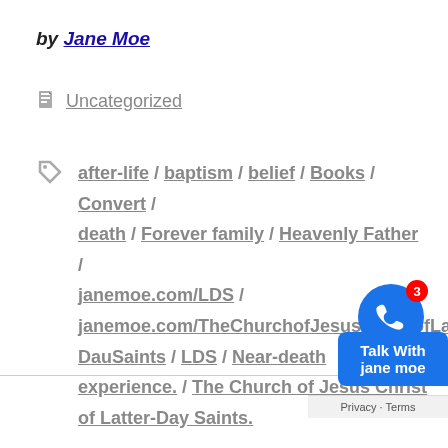by Jane Moe
Uncategorized
after-life / baptism / belief / Books / Convert / death / Forever family / Heavenly Father / janemoe.com/LDS / janemoe.com/TheChurchofJesusChristofLatter-DauSaints / LDS / Near-death experience. / The Church of Jesus Christ of Latter-Day Saints.
[Figure (other): Phone call widget with blue circle icon and badge showing '3', plus 'Talk With jane moe' button]
Privacy · Terms